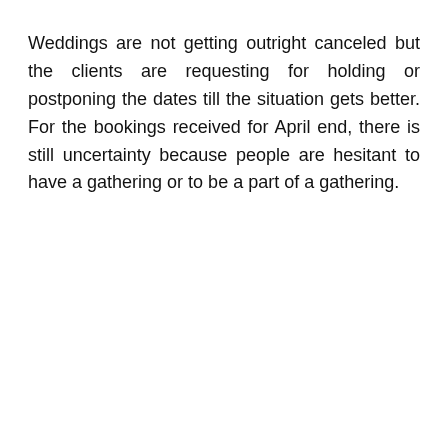Weddings are not getting outright canceled but the clients are requesting for holding or postponing the dates till the situation gets better. For the bookings received for April end, there is still uncertainty because people are hesitant to have a gathering or to be a part of a gathering.